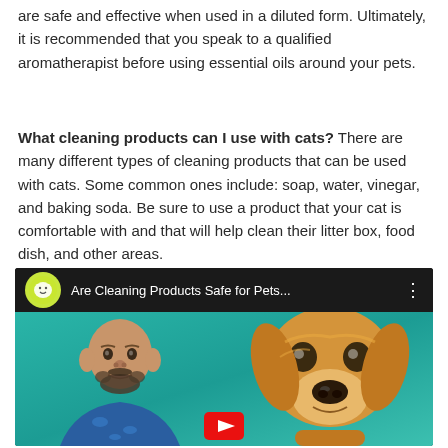are safe and effective when used in a diluted form. Ultimately, it is recommended that you speak to a qualified aromatherapist before using essential oils around your pets.
What cleaning products can I use with cats? There are many different types of cleaning products that can be used with cats. Some common ones include: soap, water, vinegar, and baking soda. Be sure to use a product that your cat is comfortable with and that will help clean their litter box, food dish, and other areas.
[Figure (screenshot): YouTube video thumbnail showing 'Are Cleaning Products Safe for Pets...' with a man and a dog against a teal background, with a YouTube play button overlay.]